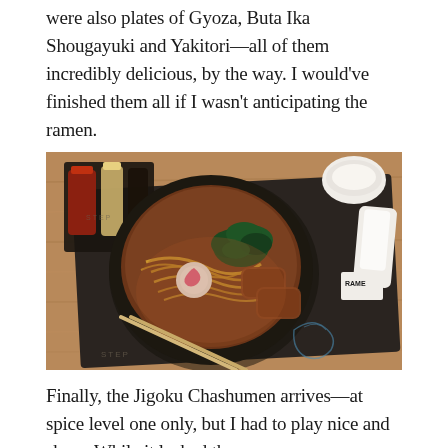were also plates of Gyoza, Buta Ika Shougayuki and Yakitori—all of them incredibly delicious, by the way. I would've finished them all if I wasn't anticipating the ramen.
[Figure (photo): Overhead shot of a bowl of ramen (Jigoku Chashumen) on a dark placemat on a wooden table. The bowl contains noodles, chashu pork, spinach, narutomaki, and broth. Chopsticks rest on the placemat. Condiment bottles and a small white bowl are visible nearby.]
Finally, the Jigoku Chashumen arrives—at spice level one only, but I had to play nice and share. While it lacked the